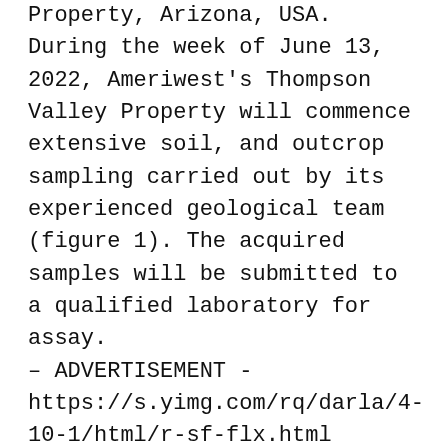Property, Arizona, USA. During the week of June 13, 2022, Ameriwest's Thompson Valley Property will commence extensive soil, and outcrop sampling carried out by its experienced geological team (figure 1). The acquired samples will be submitted to a qualified laboratory for assay. – ADVERTISEMENT - https://s.yimg.com/rq/darla/4-10-1/html/r-sf-flx.html
Ameriwest President and CEO, David Watkinson, commented, “We are very confident that the results will show the extent of lithium present on our Thompson Valley property and anticipate a drill program to be underway on the property in